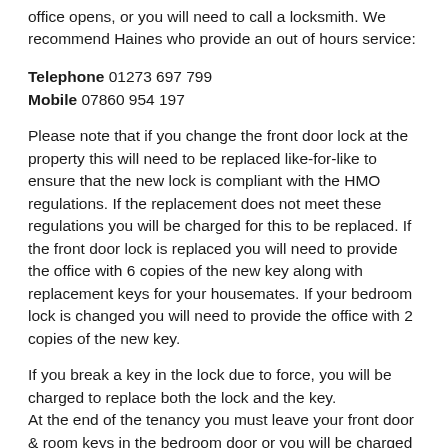office opens, or you will need to call a locksmith. We recommend Haines who provide an out of hours service:
Telephone 01273 697 799
Mobile 07860 954 197
Please note that if you change the front door lock at the property this will need to be replaced like-for-like to ensure that the new lock is compliant with the HMO regulations. If the replacement does not meet these regulations you will be charged for this to be replaced. If the front door lock is replaced you will need to provide the office with 6 copies of the new key along with replacement keys for your housemates. If your bedroom lock is changed you will need to provide the office with 2 copies of the new key.
If you break a key in the lock due to force, you will be charged to replace both the lock and the key.
At the end of the tenancy you must leave your front door & room keys in the bedroom door or you will be charged for replacements from your deposit.